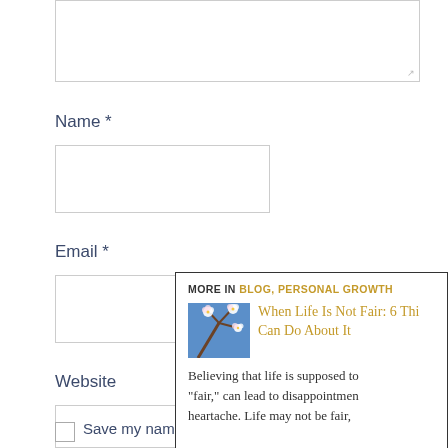Name *
Email *
Website
Save my name, email, and website in...
MORE IN BLOG, PERSONAL GROWTH
When Life Is Not Fair: 6 Things You Can Do About It
Believing that life is supposed to be "fair," can lead to disappointment and heartache. Life may not be fair,